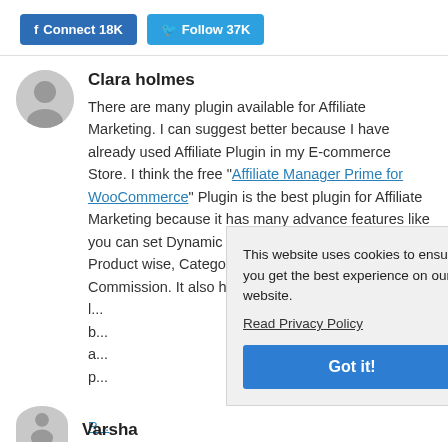f Connect 18K   Follow 37K
Clara holmes
There are many plugin available for Affiliate Marketing. I can suggest better because I have already used Affiliate Plugin in my E-commerce Store. I think the free "Affiliate Manager Prime for WooCommerce" Plugin is the best plugin for Affiliate Marketing because it has many advance features like you can set Dynamic Commission, we can set Product wise, Category wise, Common wise Commission. It also have Advance payment method...
This website uses cookies to ensure you get the best experience on our website. Read Privacy Policy
Got it!
Varsha